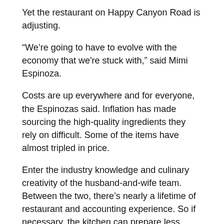Yet the restaurant on Happy Canyon Road is adjusting.
“We’re going to have to evolve with the economy that we're stuck with,” said Mimi Espinoza.
Costs are up everywhere and for everyone, the Espinozas said. Inflation has made sourcing the high-quality ingredients they rely on difficult. Some of the items have almost tripled in price.
Enter the industry knowledge and culinary creativity of the husband-and-wife team. Between the two, there’s nearly a lifetime of restaurant and accounting experience. So if necessary, the kitchen can prepare less expensive cuts in a way that keeps flavor in the spotlight, Mimi Espinoza said. As a chef-run restaurant, Trestles’ menu changes regularly.
When Colorado rack of lamb got too expensive, for example, the Espinozas were able to pivot in three days to lamb sirloin steaks. That option satiates customers’ desire for the state’s world-renowned protein but at a more affordable price. Like the lobster rolls, the rack of lamb’s absence may only be temporary.
“We don’t want to make decisions on costs that are going to